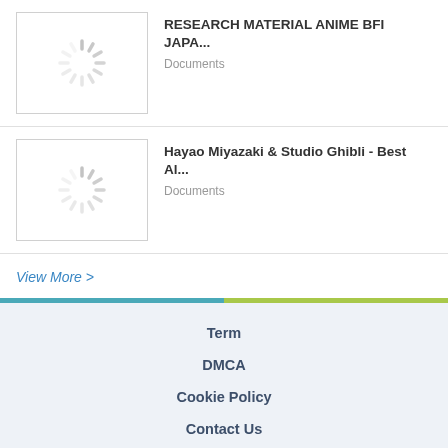RESEARCH MATERIAL ANIME BFI JAPA... | Documents
Hayao Miyazaki & Studio Ghibli - Best Al... | Documents
View More >
Term | DMCA | Cookie Policy | Contact Us
Copyright © 2018 FDOCUMENTS